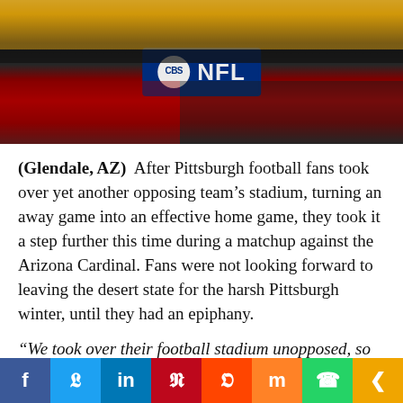[Figure (photo): NFL game at stadium with fans in stands wearing Pittsburgh Steelers and Arizona Cardinals gear. A CBS NFL banner/sign is visible prominently in the center of the image. Fans are packed in rows behind the banner.]
(Glendale, AZ)  After Pittsburgh football fans took over yet another opposing team's stadium, turning an away game into an effective home game, they took it a step further this time during a matchup against the Arizona Cardinal. Fans were not looking forward to leaving the desert state for the harsh Pittsburgh winter, until they had an epiphany.
“We took over their football stadium unopposed, so why not the whole town?”
Social share bar: Facebook, Twitter, LinkedIn, Pinterest, Reddit, Mix, WhatsApp, Share